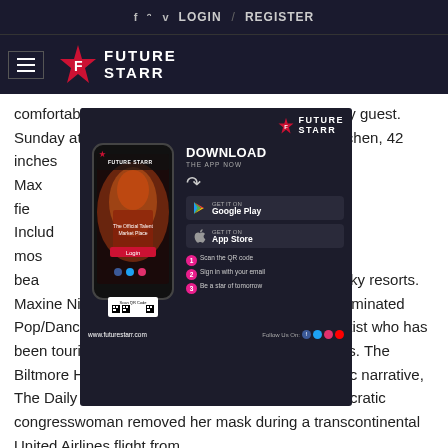f  v  LOGIN  /  REGISTER
[Figure (logo): Future Starr logo with hamburger menu icon on dark navy background]
comfortable rooms, furnished to fit the needs of any guest. Sunday at 10:02 A... es include full kitchen, 42 inches... , secure entry. By Sergio F. Max... ess providing services in the fie... 827 check-ins. Collections Includ... zabeth Warren, have had the mos... shman group. It's known for its bea... ife, with oceanside dining and swanky resorts. Maxine Nightingale is a World-famous Grammy Nominated Pop/Dance/Jazz/R&B Contemporary Recording Artist who has been touring all over the world for the past 27 years. The Biltmore Hotel Biltmore Wedding Miami. In dramatic narrative, The Daily Wire describes how the polarizing Democratic congresswoman removed her mask during a transcontinental United Airlines flight from
[Figure (screenshot): Future Starr app download advertisement overlay showing a phone mockup, Download the App Now button, Google Play and App Store buttons, QR code, and steps to become a star]